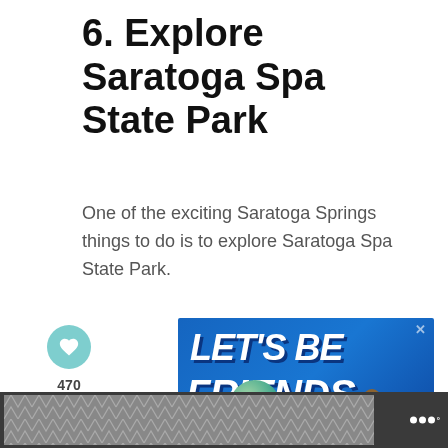6. Explore Saratoga Spa State Park
One of the exciting Saratoga Springs things to do is to explore Saratoga Spa State Park.
[Figure (screenshot): Social sharing sidebar with a teal heart icon, count of 470, and a share icon button]
[Figure (screenshot): Advertisement banner with blue background reading LET'S BE FRIENDS with a dog image and green circular logo overlay for a social/pets app]
[Figure (screenshot): Bottom bar with dark background, chevron-patterned ad placeholder and a white circular logo with dots]